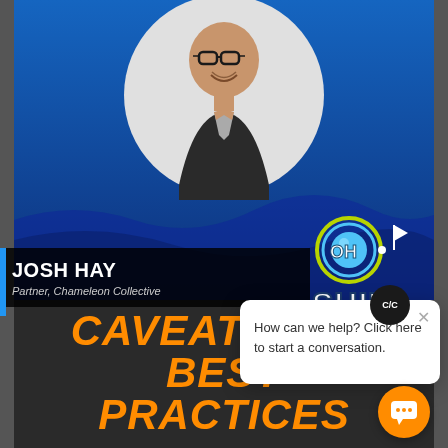[Figure (photo): Circular headshot of Josh Hay, a smiling man wearing glasses and a dark blazer over a light shirt, against a blue background with the 'Oh Ship!' podcast logo in the lower right]
JOSH HAY
Partner, Chameleon Collective
CAVEATS AND BEST PRACTICES
[Figure (screenshot): Chat popup widget showing C/C badge and message: 'How can we help? Click here to start a conversation.' with a close X button and orange chat bubble button]